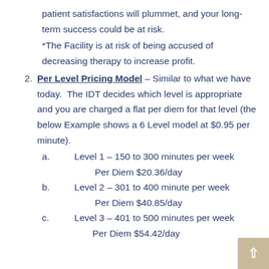patient satisfactions will plummet, and your long-term success could be at risk.
*The Facility is at risk of being accused of decreasing therapy to increase profit.
Per Level Pricing Model – Similar to what we have today.  The IDT decides which level is appropriate and you are charged a flat per diem for that level (the below Example shows a 6 Level model at $0.95 per minute).
a.        Level 1 – 150 to 300 minutes per week                    Per Diem $20.36/day
b.        Level 2 – 301 to 400 minute per week                     Per Diem $40.85/day
c.        Level 3 – 401 to 500 minutes per week                    Per Diem $54.42/day